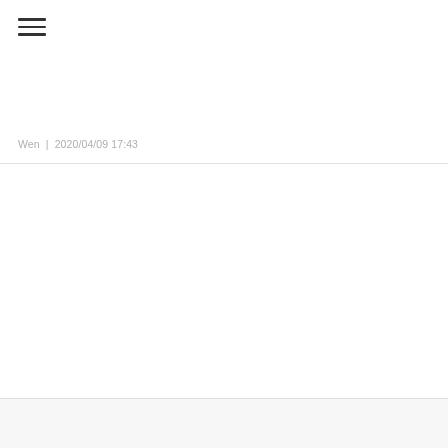[Figure (other): Hamburger menu icon with three horizontal lines]
Wen  |  2020/04/09 17:43